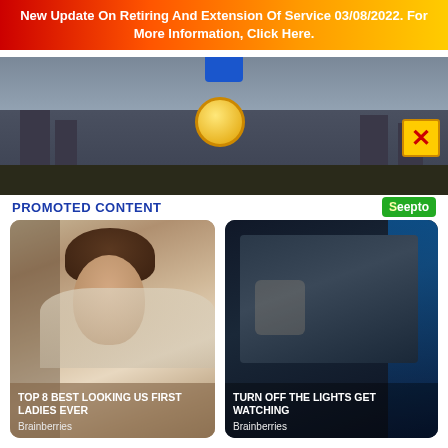New Update On Retiring And Extension Of Service 03/08/2022. For More Information, Click Here.
[Figure (photo): Advertisement banner image showing a fantasy castle scene with a gold coin/badge and a blue icon button; a yellow X close button in the upper right corner]
PROMOTED CONTENT
[Figure (logo): Seepto logo — green badge with white text]
[Figure (photo): Promotional card showing a woman with brown hair smiling, overlaid with text 'TOP 8 BEST LOOKING US FIRST LADIES EVER' and source 'Brainberries']
[Figure (photo): Promotional card showing a dark horror movie scene with a figure, overlaid with text 'TURN OFF THE LIGHTS GET WATCHING' and source 'Brainberries']